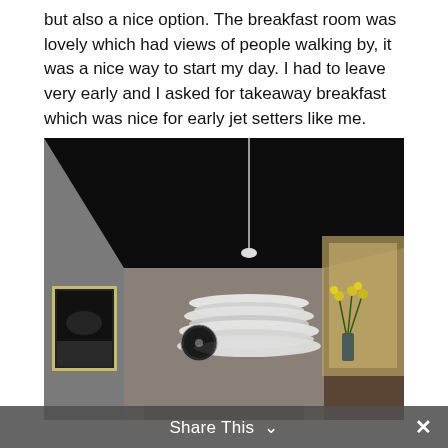but also a nice option. The breakfast room was lovely which had views of people walking by, it was a nice way to start my day. I had to leave very early and I asked for takeaway breakfast which was nice for early jet setters like me.
[Figure (photo): Interior photo of a dining room with a black ceiling, a modern white layered pendant lamp hanging from the ceiling, a framed black-and-white artwork on the left wall, a circular wall clock, and yellow flowers in a vase on the right side.]
Share This ∨  ✕